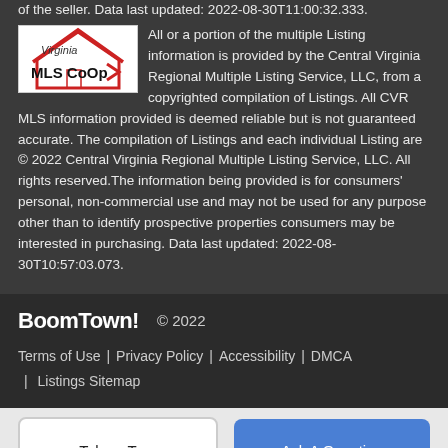of the seller. Data last updated: 2022-08-30T11:00:32.333.
All or a portion of the multiple Listing information is provided by the Central Virginia Regional Multiple Listing Service, LLC, from a copyrighted compilation of Listings. All CVR MLS information provided is deemed reliable but is not guaranteed accurate. The compilation of Listings and each individual Listing are © 2022 Central Virginia Regional Multiple Listing Service, LLC. All rights reserved.The information being provided is for consumers' personal, non-commercial use and may not be used for any purpose other than to identify prospective properties consumers may be interested in purchasing. Data last updated: 2022-08-30T10:57:03.073.
[Figure (logo): Virginia MLS CoOp logo with house icon]
BoomTown! © 2022
Terms of Use | Privacy Policy | Accessibility | DMCA | Listings Sitemap
Take a Tour
Ask A Question